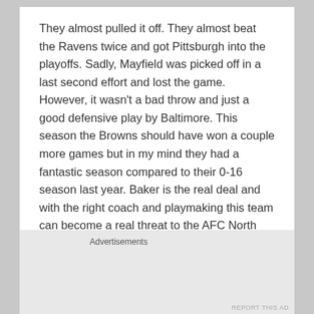They almost pulled it off. They almost beat the Ravens twice and got Pittsburgh into the playoffs. Sadly, Mayfield was picked off in a last second effort and lost the game. However, it wasn't a bad throw and just a good defensive play by Baltimore. This season the Browns should have won a couple more games but in my mind they had a fantastic season compared to their 0-16 season last year. Baker is the real deal and with the right coach and playmaking this team can become a real threat to the AFC North next season.
Advertisements